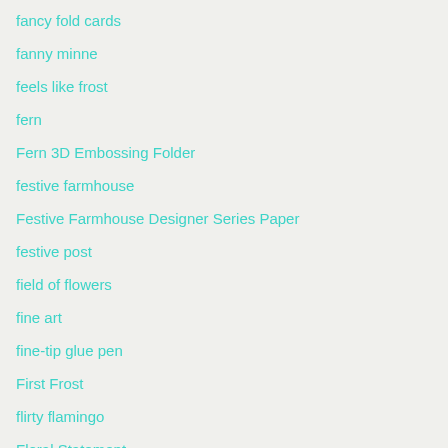fancy fold cards
fanny minne
feels like frost
fern
Fern 3D Embossing Folder
festive farmhouse
Festive Farmhouse Designer Series Paper
festive post
field of flowers
fine art
fine-tip glue pen
First Frost
flirty flamingo
Floral Statement